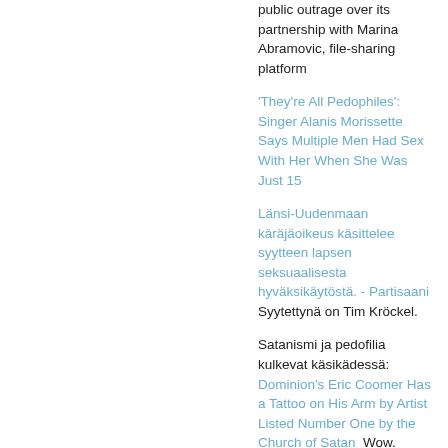public outrage over its partnership with Marina Abramovic, file-sharing platform
'They're All Pedophiles': Singer Alanis Morissette Says Multiple Men Had Sex With Her When She Was Just 15
Länsi-Uudenmaan käräjäoikeus käsittelee syytteen lapsen seksuaalisesta hyväksikäytöstä. - Partisaani Syytettynä on Tim Kröckel.
Satanismi ja pedofilia kulkevat käsikädessä: Dominion's Eric Coomer Has a Tattoo on His Arm by Artist Listed Number One by the Church of Satan  Wow. Dominion's Eric Coomer has a